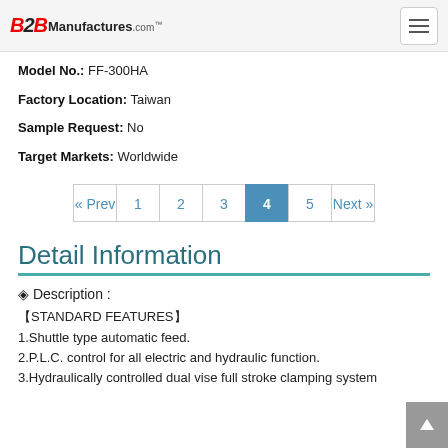B2BManufactures.com
Model No.: FF-300HA
Factory Location: Taiwan
Sample Request: No
Target Markets: Worldwide
« Prev 1 2 3 4 5 Next »
Detail Information
◈ Description :
【STANDARD FEATURES】
1.Shuttle type automatic feed.
2.P.L.C. control for all electric and hydraulic function.
3.Hydraulically controlled dual vise full stroke clamping system